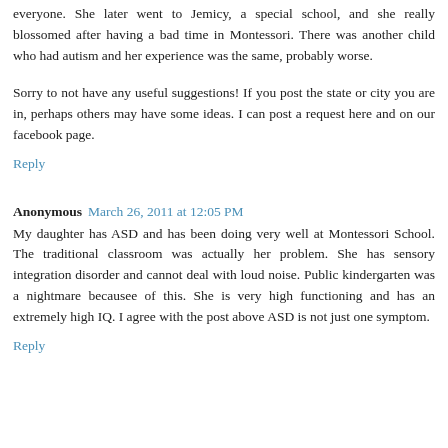everyone. She later went to Jemicy, a special school, and she really blossomed after having a bad time in Montessori. There was another child who had autism and her experience was the same, probably worse.
Sorry to not have any useful suggestions! If you post the state or city you are in, perhaps others may have some ideas. I can post a request here and on our facebook page.
Reply
Anonymous  March 26, 2011 at 12:05 PM
My daughter has ASD and has been doing very well at Montessori School. The traditional classroom was actually her problem. She has sensory integration disorder and cannot deal with loud noise. Public kindergarten was a nightmare becausee of this. She is very high functioning and has an extremely high IQ. I agree with the post above ASD is not just one symptom.
Reply